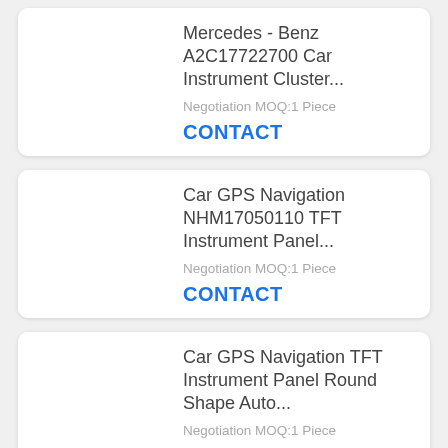Mercedes - Benz A2C17722700 Car Instrument Cluster...
Negotiation MOQ:1 Piece
CONTACT
Car GPS Navigation NHM17050110 TFT Instrument Panel...
Negotiation MOQ:1 Piece
CONTACT
Car GPS Navigation TFT Instrument Panel Round Shape Auto...
Negotiation MOQ:1 Piece
CONTACT